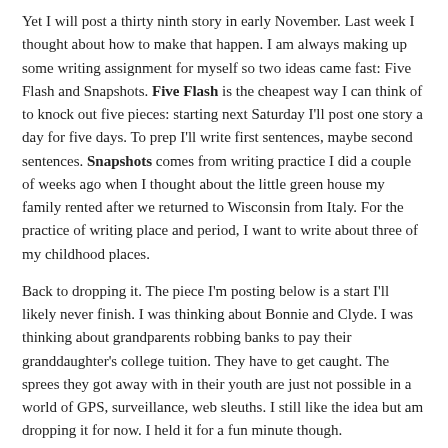Yet I will post a thirty ninth story in early November. Last week I thought about how to make that happen. I am always making up some writing assignment for myself so two ideas came fast: Five Flash and Snapshots. Five Flash is the cheapest way I can think of to knock out five pieces: starting next Saturday I'll post one story a day for five days. To prep I'll write first sentences, maybe second sentences. Snapshots comes from writing practice I did a couple of weeks ago when I thought about the little green house my family rented after we returned to Wisconsin from Italy. For the practice of writing place and period, I want to write about three of my childhood places.
Back to dropping it. The piece I'm posting below is a start I'll likely never finish. I was thinking about Bonnie and Clyde. I was thinking about grandparents robbing banks to pay their granddaughter's college tuition. They have to get caught. The sprees they got away with in their youth are just not possible in a world of GPS, surveillance, web sleuths. I still like the idea but am dropping it for now. I held it for a fun minute though.
Her grandfather hollered down from the porch that she was